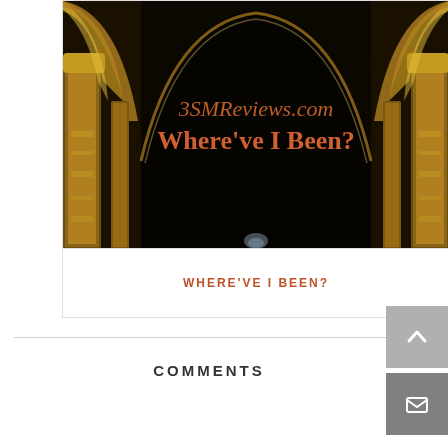[Figure (photo): Photo of ornate Moorish golden arches in dark setting with text overlay: '3SMReviews.com' and 'Where've I Been?' in orange/copper colored font against black background]
WHERE'VE I BEEN?
COMMENTS